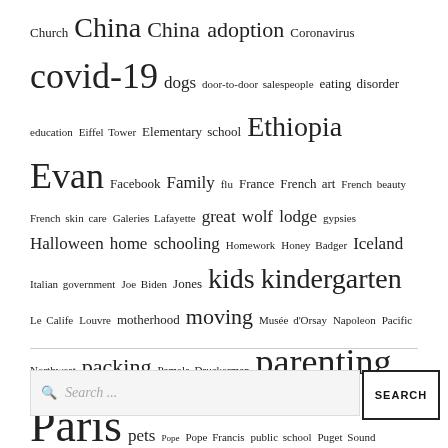Church China China adoption Coronavirus covid-19 dogs door-to-door salespeople eating disorder education Eiffel Tower Elementary school Ethiopia Evan Facebook Family flu France French art French beauty French skin care Galeries Lafayette great wolf lodge gypsies Halloween home schooling Homework Honey Badger Iceland Italian government Joe Biden Jones kids kindergarten Le Calife Louvre motherhood moving Musée d'Orsay Napoleon Pacific Northwest packing Pamela Druckerman parenting Paris pets Pope Pope Francis public school Puget Sound quarantine rain Reykjavik Roma Roma population Saint James San Francisco Bay Area seasonal affective disorder Seattle Seine shoes shopping social distancing Stuffed toy The Calife boat tour travel traveling Working from home Xian Xiao-Jie